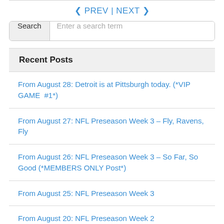< PREV | NEXT >
Search   Enter a search term
Recent Posts
From August 28: Detroit is at Pittsburgh today. (*VIP GAME  #1*)
From August 27: NFL Preseason Week 3 – Fly, Ravens, Fly
From August 26: NFL Preseason Week 3 – So Far, So Good (*MEMBERS ONLY Post*)
From August 25: NFL Preseason Week 3
From August 20: NFL Preseason Week 2